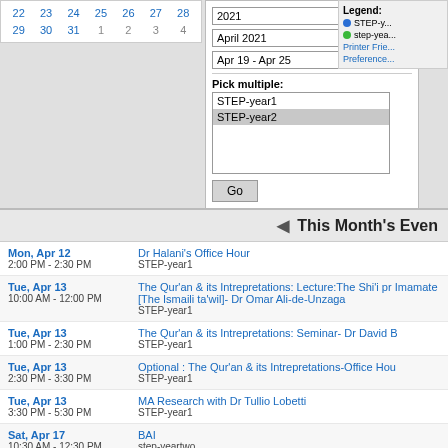[Figure (screenshot): Mini calendar showing April/May dates with clickable date links in blue]
[Figure (screenshot): Filter panel with dropdowns for year (2021), month (April 2021), week (Apr 19 - Apr 25), multi-select list (STEP-year1, STEP-year2), and Go button]
[Figure (screenshot): Legend panel showing STEP-year1 (blue dot), step-yeartwo (green dot), Printer Friendly link, Preferences link]
◄ This Month's Even
Mon, Apr 12 | 2:00 PM - 2:30 PM | Dr Halani's Office Hour | STEP-year1
Tue, Apr 13 | 10:00 AM - 12:00 PM | The Qur'an & its Intrepretations: Lecture:The Shi'i pr Imamate [The Ismaili ta'wil]- Dr Omar Ali-de-Unzaga | STEP-year1
Tue, Apr 13 | 1:00 PM - 2:30 PM | The Qur'an & its Intrepretations: Seminar- Dr David B | STEP-year1
Tue, Apr 13 | 2:30 PM - 3:30 PM | Optional : The Qur'an & its Intrepretations-Office Hou | STEP-year1
Tue, Apr 13 | 3:30 PM - 5:30 PM | MA Research with Dr Tullio Lobetti | STEP-year1
Sat, Apr 17 | 10:30 AM - 12:30 PM | BAI | step-yeartwo
Sat, Apr 17 | 1:30 PM - 3:30 PM | BAI | step-yeartwo